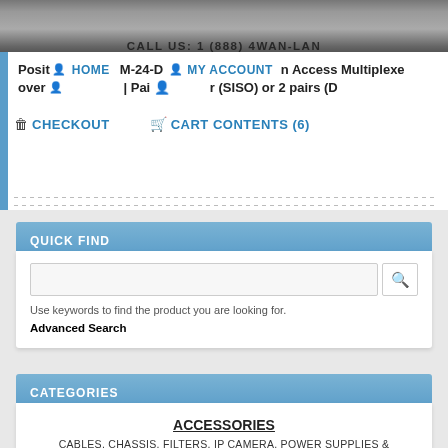CALL US: 1 (888) 4WAN-LAN
[Figure (screenshot): Navigation bar with HOME, M-24-D product title, MY ACCOUNT, CART CONTENTS (6), CHECKOUT links and icons. Blue vertical bar on left. Partial product text visible: 'In Access Multiplexer 1 pair (SISO) or 2 pairs'.]
QUICK FIND
Use keywords to find the product you are looking for.
Advanced Search
CATEGORIES
ACCESSORIES
CABLES, CHASSIS, FILTERS, IP CAMERA, POWER SUPPLIES & SPLITTERS